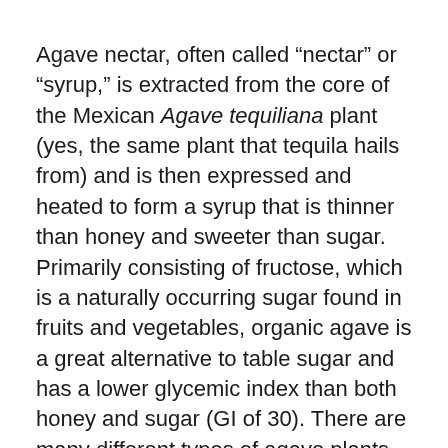Agave nectar, often called “nectar” or “syrup,” is extracted from the core of the Mexican Agave tequiliana plant (yes, the same plant that tequila hails from) and is then expressed and heated to form a syrup that is thinner than honey and sweeter than sugar. Primarily consisting of fructose, which is a naturally occurring sugar found in fruits and vegetables, organic agave is a great alternative to table sugar and has a lower glycemic index than both honey and sugar (GI of 30). There are many different types of agave plants, allowing the syrup to be concocted into various colors and flavors.
It has recently attracted media attention in regard to the authenticity of its chemical-free